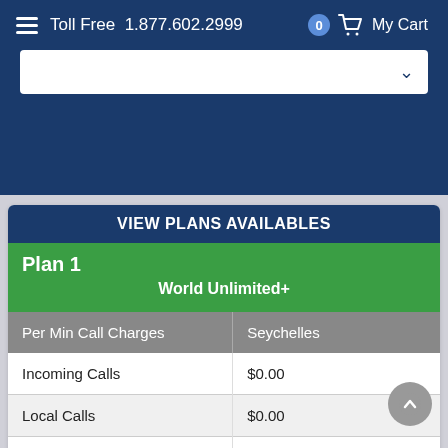Toll Free 1.877.602.2999  My Cart
VIEW PLANS AVAILABLES
| Per Min Call Charges | Seychelles |
| --- | --- |
| Incoming Calls | $0.00 |
| Local Calls | $0.00 |
| Call to Usa Canada | $0.00 |
| Voicemail Access | $0.00 |
| Call to Other Countries (?) | $0.00 |
| Mobile to Mobile | $0.00 |